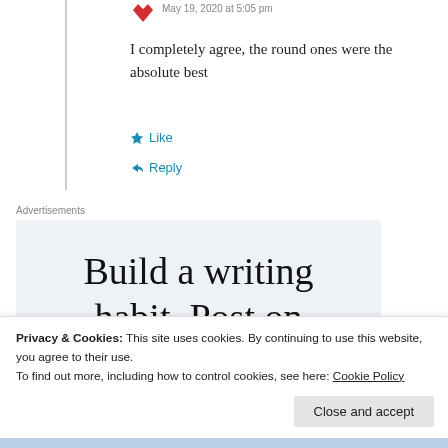May 19, 2020 at 5:05 pm
I completely agree, the round ones were the absolute best
Like
Reply
Advertisements
Build a writing habit. Post on
Privacy & Cookies: This site uses cookies. By continuing to use this website, you agree to their use.
To find out more, including how to control cookies, see here: Cookie Policy
Close and accept